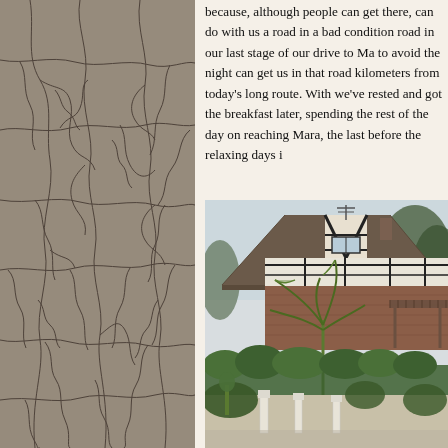[Figure (photo): Close-up photo of cracked, dry earth or stone texture with a network of dark fissures across a grey-brown surface, filling the entire left column of the page.]
because, although people can get there, can do with us a road in a bad condition road in our last stage of our drive to Ma to avoid the night can get us in that road kilometers from today's long route. With we've rested and got the breakfast later, spending the rest of the day on reaching Mara, the last before the relaxing days i
[Figure (photo): Photo of a lodge or colonial-style building with a steep triangular roof, half-timbered upper facade, brick lower walls, surrounded by tropical palm trees, hedges, and green vegetation. There is a TV antenna visible above the roof against a light sky.]